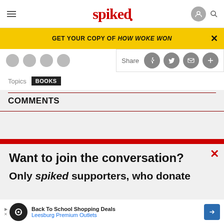spiked
GET YOUR COPY OF HOW WOKE WON
Topics BOOKS   Share
COMMENTS
Want to join the conversation?
Only spiked supporters, who donate
[Figure (screenshot): Ad banner: Back To School Shopping Deals - Leesburg Premium Outlets]
ABOUT